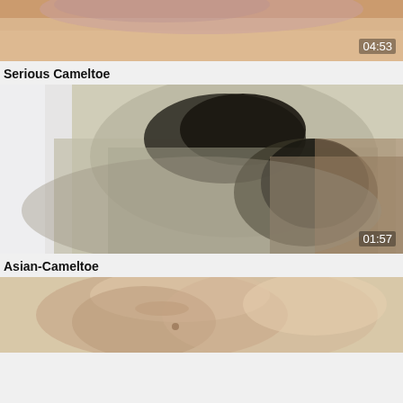[Figure (photo): Video thumbnail showing close-up skin, partially cropped, with duration 04:53]
Serious Cameltoe
[Figure (photo): Video thumbnail showing person bent over in beige/olive clothing viewed from above, with duration 01:57]
Asian-Cameltoe
[Figure (photo): Video thumbnail showing a woman's face, partially cropped at bottom of page]